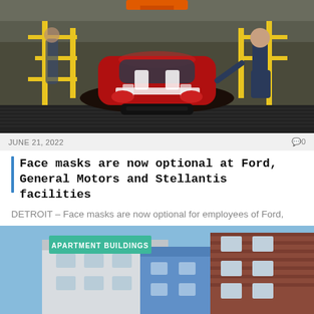[Figure (photo): Workers on an automotive factory assembly line with a red Chevrolet car being assembled, yellow safety railings visible in the background]
JUNE 21, 2022
0 comments
Face masks are now optional at Ford, General Motors and Stellantis facilities
DETROIT – Face masks are now optional for employees of Ford, General Motors and Stellantis,...
[Figure (photo): Apartment buildings exterior with a green label reading APARTMENT BUILDINGS]